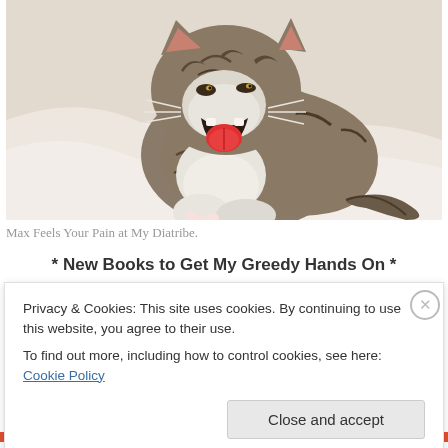[Figure (photo): A tabby cat with white and dark stripes lying on white bedding with its mouth open and tongue out, appearing to yawn or make an expression.]
Max Feels Your Pain at My Diatribe.
* New Books to Get My Greedy Hands On *
Privacy & Cookies: This site uses cookies. By continuing to use this website, you agree to their use.
To find out more, including how to control cookies, see here: Cookie Policy
Close and accept